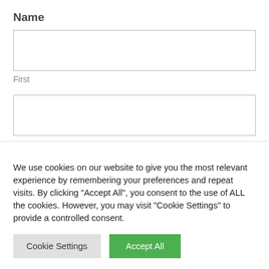Name
First
Last
Address
We use cookies on our website to give you the most relevant experience by remembering your preferences and repeat visits. By clicking “Accept All”, you consent to the use of ALL the cookies. However, you may visit “Cookie Settings” to provide a controlled consent.
Cookie Settings
Accept All